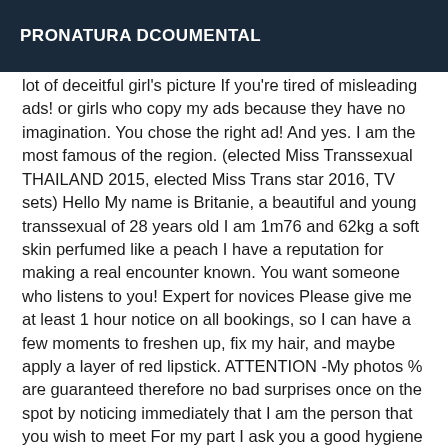PRONATURA DCOUMENTAL
lot of deceitful girl's picture If you're tired of misleading ads! or girls who copy my ads because they have no imagination. You chose the right ad! And yes. I am the most famous of the region. (elected Miss Transsexual THAILAND 2015, elected Miss Trans star 2016, TV sets) Hello My name is Britanie, a beautiful and young transsexual of 28 years old I am 1m76 and 62kg a soft skin perfumed like a peach I have a reputation for making a real encounter known. You want someone who listens to you! Expert for novices Please give me at least 1 hour notice on all bookings, so I can have a few moments to freshen up, fix my hair, and maybe apply a layer of red lipstick. ATTENTION -My photos % are guaranteed therefore no bad surprises once on the spot by noticing immediately that I am the person that you wish to meet For my part I ask you a good hygiene and to be punctual and especially discreet during your appointments no criteria of physique nor of age is